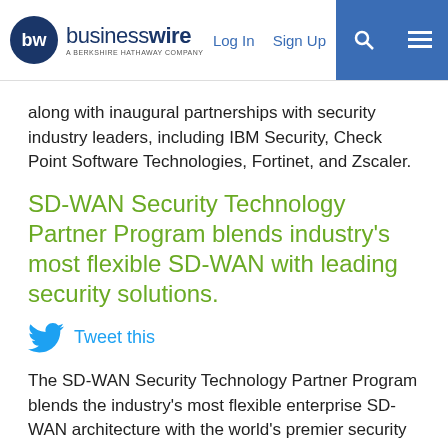businesswire — A BERKSHIRE HATHAWAY COMPANY | Log In | Sign Up
along with inaugural partnerships with security industry leaders, including IBM Security, Check Point Software Technologies, Fortinet, and Zscaler.
SD-WAN Security Technology Partner Program blends industry's most flexible SD-WAN with leading security solutions.
Tweet this
The SD-WAN Security Technology Partner Program blends the industry's most flexible enterprise SD-WAN architecture with the world's premier security solutions. VeloCloud Cloud-Delivered SD-WAN enables enterprises to securely run advanced wide area networks that support application growth, network agility, and simplified branch office deployments by partnering with best-of-breed security technology leaders. Enterprises will now be able to implement SD-WAN with their preferred interoperable security